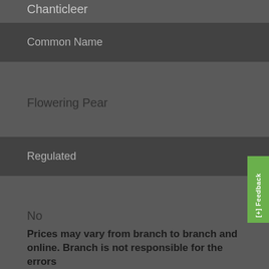Chanticleer
Common Name
Flowering Pear
Regulated
No
[+] Feedback
Prices may vary from branch to branch and online. Branch is not responsible for the errors